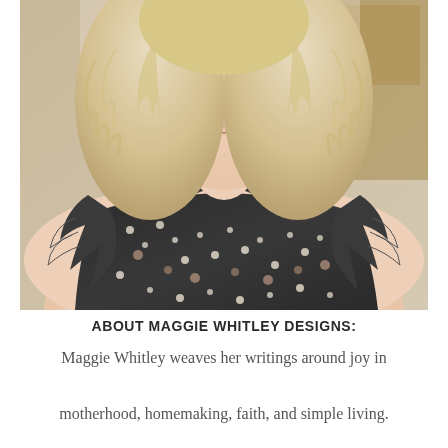[Figure (photo): Close-up photo of a smiling woman with curly blonde hair wearing a dark floral ruffled sleeveless top, photographed indoors with a kitchen visible in the background.]
ABOUT MAGGIE WHITLEY DESIGNS:
Maggie Whitley weaves her writings around joy in motherhood, homemaking, faith, and simple living. She homeschools her children, enjoys a quiet